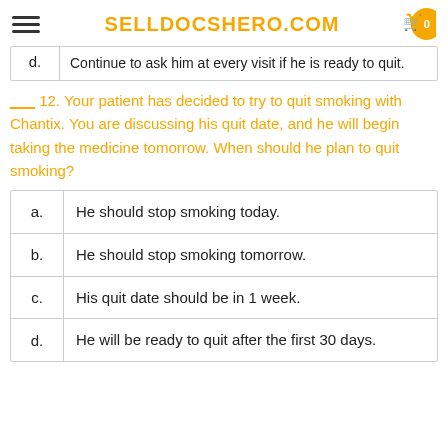SELLDOCSHERO.COM
| d. | Continue to ask him at every visit if he is ready to quit. |
___ 12. Your patient has decided to try to quit smoking with Chantix. You are discussing his quit date, and he will begin taking the medicine tomorrow. When should he plan to quit smoking?
| a. | He should stop smoking today. |
| b. | He should stop smoking tomorrow. |
| c. | His quit date should be in 1 week. |
| d. | He will be ready to quit after the first 30 days. |